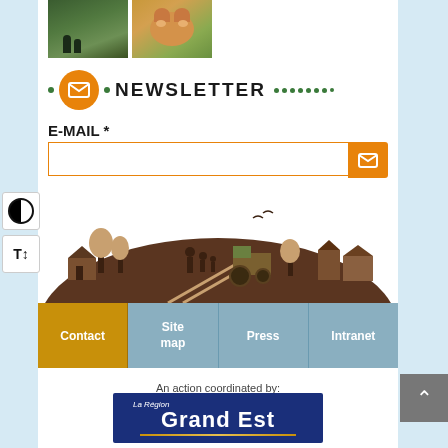[Figure (photo): Two photos: people walking in a field, and a hamster close-up]
NEWSLETTER
E-MAIL *
[Figure (illustration): Silhouette illustration of rural scene with family, tractor, trees, and buildings on a brown hill]
Contact | Site map | Press | Intranet
An action coordinated by:
[Figure (logo): La Région Grand Est logo on dark blue background]